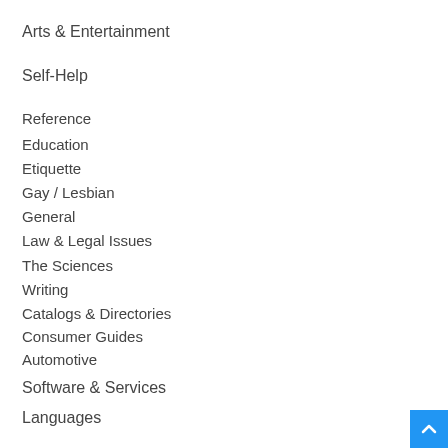Arts & Entertainment
Self-Help
Reference
Education
Etiquette
Gay / Lesbian
General
Law & Legal Issues
The Sciences
Writing
Catalogs & Directories
Consumer Guides
Automotive
Software & Services
Languages
Mobile
Politics / Current Events